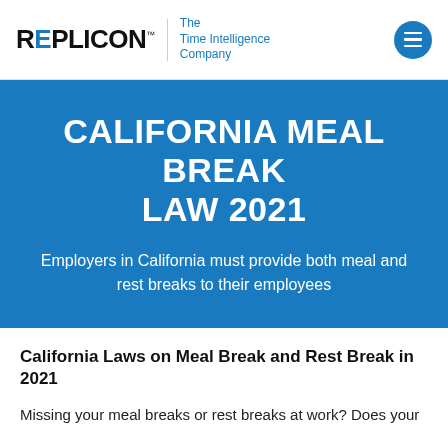REPLICON™ | The Time Intelligence Company
CALIFORNIA MEAL BREAK LAW 2021
Employers in California must provide both meal and rest breaks to their employees
California Laws on Meal Break and Rest Break in 2021
Missing your meal breaks or rest breaks at work? Does your